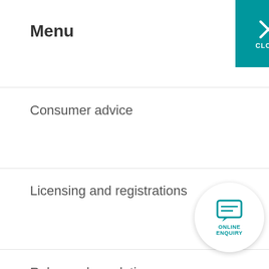Menu
Consumer advice
Licensing and registrations
Rules and regulations
About the ACMA
CLOSE
make a payment
Australian Communications and Media Authority
on for consumers from
s. Register for ACMA's rence.
gering
etStop
ONLINE ENQUIRY